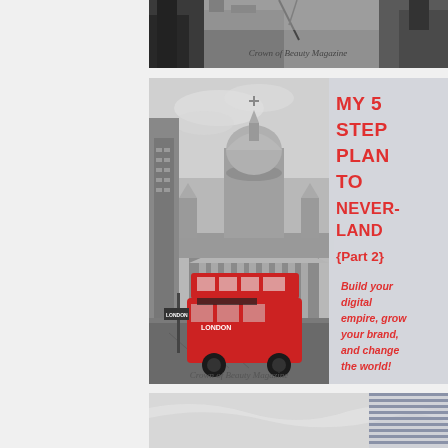[Figure (photo): Top strip: cityscape/architecture photograph in greyscale showing buildings, positioned at top right of page. Text 'Crown of Beauty Magazine' overlaid.]
[Figure (photo): Main feature card: black-and-white photo of St Paul's Cathedral in London with a red double-decker bus in foreground. Right side has a light grey panel with red text: 'MY 5 STEP PLAN TO NEVERLAND {Part 2}' and 'Build your digital empire, grow your brand, and change the world!' Footer reads 'Crown of Beauty Magazine'.]
MY 5 STEP PLAN TO NEVERLAND
{Part 2}
Build your digital empire, grow your brand, and change the world!
Crown of Beauty Magazine
[Figure (photo): Bottom strip: partial photograph showing soft grey/white fabric or waves with blue horizontal striped pattern on the right side.]